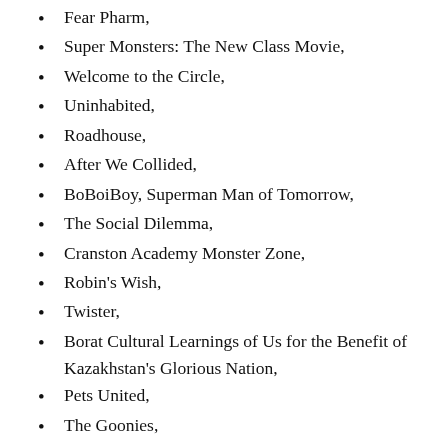Fear Pharm,
Super Monsters: The New Class Movie,
Welcome to the Circle,
Uninhabited,
Roadhouse,
After We Collided,
BoBoiBoy, Superman Man of Tomorrow,
The Social Dilemma,
Cranston Academy Monster Zone,
Robin's Wish,
Twister,
Borat Cultural Learnings of Us for the Benefit of Kazakhstan's Glorious Nation,
Pets United,
The Goonies,
Game of Thrones (all seasons: Sundays),